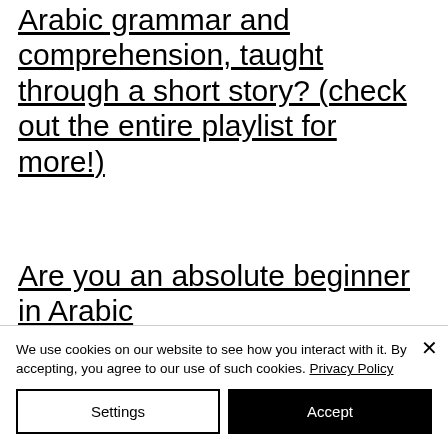Arabic grammar and comprehension, taught through a short story? (check out the entire playlist for more!)
Are you an absolute beginner in Arabic
We use cookies on our website to see how you interact with it. By accepting, you agree to our use of such cookies. Privacy Policy